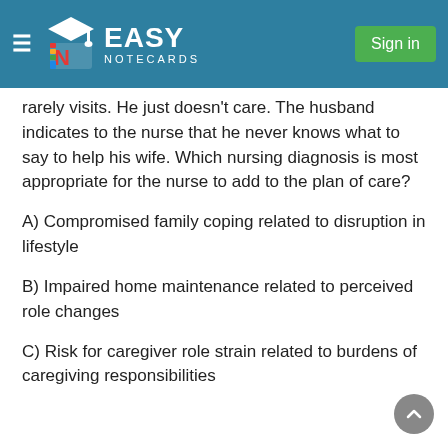Easy Notecards — Sign in
rarely visits. He just doesn't care. The husband indicates to the nurse that he never knows what to say to help his wife. Which nursing diagnosis is most appropriate for the nurse to add to the plan of care?
A) Compromised family coping related to disruption in lifestyle
B) Impaired home maintenance related to perceived role changes
C) Risk for caregiver role strain related to burdens of caregiving responsibilities